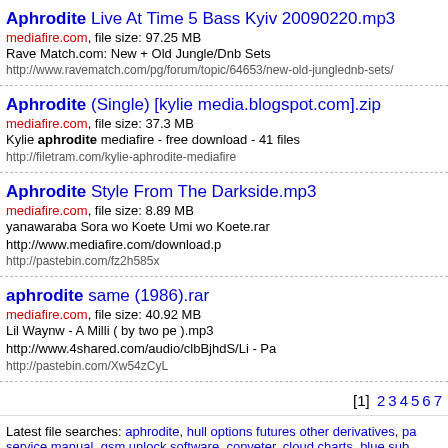Aphrodite Live At Time 5 Bass Kyiv 20090220.mp3 | mediafire.com, file size: 97.25 MB | Rave Match.com: New + Old Jungle/Dnb Sets | http://www.ravematch.com/pg/forum/topic/64653/new-old-junglednb-sets/
Aphrodite (Single) [kylie media.blogspot.com].zip | mediafire.com, file size: 37.3 MB | Kylie aphrodite mediafire - free download - 41 files | http://filetram.com/kylie-aphrodite-mediafire
Aphrodite Style From The Darkside.mp3 | mediafire.com, file size: 8.89 MB | yanawaraba Sora wo Koete Umi wo Koete.rar http://www.mediafire.com/download.p | http://pastebin.com/fz2h585x
aphrodite same (1986).rar | mediafire.com, file size: 40.92 MB | Lil Waynw - A Milli ( by two pe ).mp3 http://www.4shared.com/audio/clbBjhdS/Li - Pa | http://pastebin.com/Xw54zCyL
[1] 2 3 4 5 6 7
Latest file searches: aphrodite, hull options futures other derivatives, pa service manual, gsm unlock software, conveter, cloud charts, blue sub